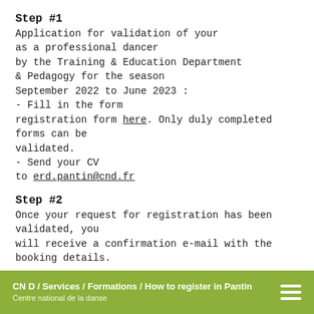Step #1
Application for validation of your
as a professional dancer
by the Training & Education Department
& Pedagogy for the season
September 2022 to June 2023 :
- Fill in the form
registration form here. Only duly completed forms can be validated.
- Send your CV
to erd.pantin@cnd.fr
Step #2
Once your request for registration has been validated, you will receive a confirmation e-mail with the booking details.
Re-register for the new season
Step #1
CN D / Services / Formations / How to register in Pantin
Centre national de la danse